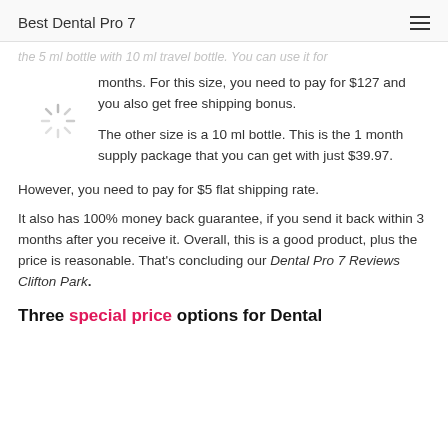Best Dental Pro 7
the 5 ml bottle with 10 ml travel bottle. You can use it for months. For this size, you need to pay for $127 and you also get free shipping bonus.
The other size is a 10 ml bottle. This is the 1 month supply package that you can get with just $39.97. However, you need to pay for $5 flat shipping rate.
It also has 100% money back guarantee, if you send it back within 3 months after you receive it. Overall, this is a good product, plus the price is reasonable. That's concluding our Dental Pro 7 Reviews Clifton Park.
Three special price options for Dental